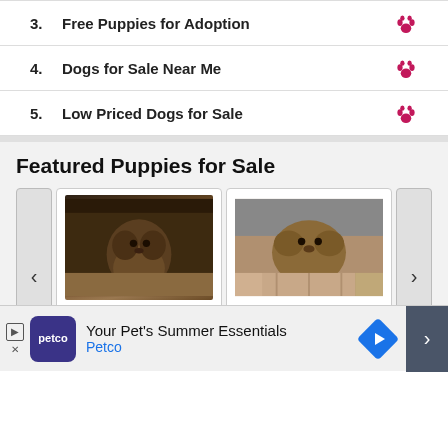3. Free Puppies for Adoption
4. Dogs for Sale Near Me
5. Low Priced Dogs for Sale
Featured Puppies for Sale
[Figure (photo): Puppy card 1: dark brindle puppy sitting, Price: $2,500, Age: 20 weeks, Gender: Male]
[Figure (photo): Puppy card 2: brindle puppy standing, Price: $2,500, Age: 20 weeks, Gender: Male]
Your Pet's Summer Essentials Petco